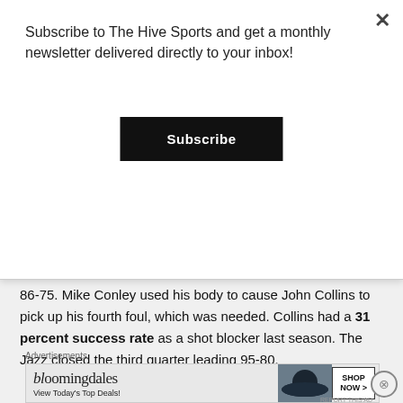Subscribe to The Hive Sports and get a monthly newsletter delivered directly to your inbox!
Subscribe
86-75. Mike Conley used his body to cause John Collins to pick up his fourth foul, which was needed. Collins had a 31 percent success rate as a shot blocker last season. The Jazz closed the third quarter leading 95-80.
In the final quarter to play, the Jazz came out rocky with Gobert fouling and Joe Ingles receiving a technical foul. The Hawks saw the Jazz break down
Advertisements
[Figure (other): Bloomingdale's advertisement banner with logo, hat image, and Shop Now button. Text: bloomingdales, View Today's Top Deals!, SHOP NOW >]